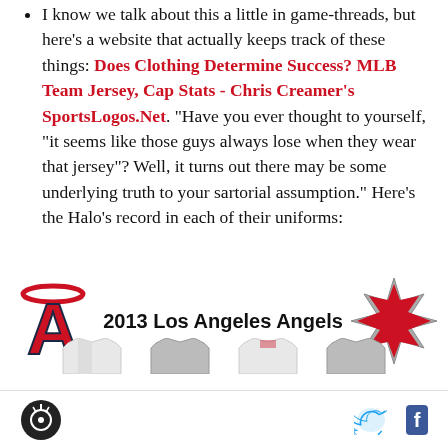I know we talk about this a little in game-threads, but here's a website that actually keeps track of these things: Does Clothing Determine Success? MLB Team Jersey, Cap Stats - Chris Creamer's SportsLogos.Net. "Have you ever thought to yourself, "it seems like those guys always lose when they wear that jersey"? Well, it turns out there may be some underlying truth to your sartorial assumption." Here's the Halo's record in each of their uniforms:
[Figure (illustration): 2013 Los Angeles Angels team logo graphic with Angels A logo on the left and a Canadian maple leaf star logo on the right, with the text '2013 Los Angeles Angels' in the center. Below are partial jersey images.]
Site logo icon | Twitter bird icon | Facebook f icon